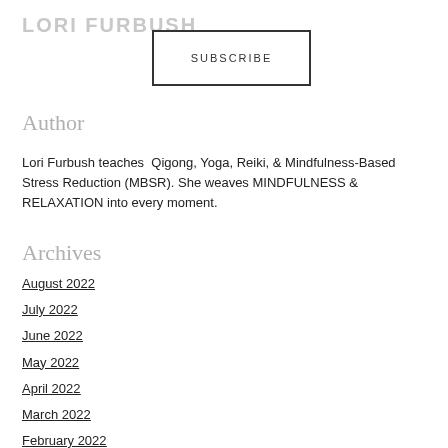LORI FURBUSH
SUBSCRIBE
Author
Lori Furbush teaches Qigong, Yoga, Reiki, & Mindfulness-Based Stress Reduction (MBSR). She weaves MINDFULNESS & RELAXATION into every moment.
Archives
August 2022
July 2022
June 2022
May 2022
April 2022
March 2022
February 2022
January 2022
December 2021